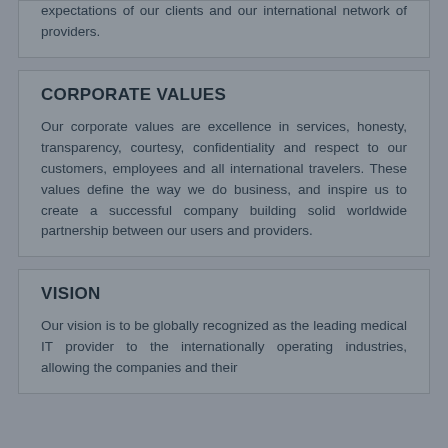expectations of our clients and our international network of providers.
CORPORATE VALUES
Our corporate values are excellence in services, honesty, transparency, courtesy, confidentiality and respect to our customers, employees and all international travelers. These values define the way we do business, and inspire us to create a successful company building solid worldwide partnership between our users and providers.
VISION
Our vision is to be globally recognized as the leading medical IT provider to the internationally operating industries, allowing the companies and their